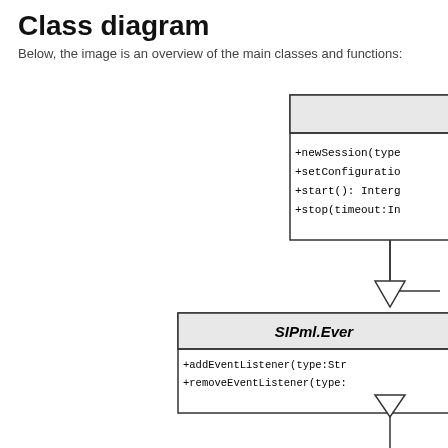Class diagram
Below, the image is an overview of the main classes and functions:
[Figure (engineering-diagram): UML class diagram showing classes with methods. Top-right shows a class box (partially cropped) with methods: +newSession(type..., +setConfiguratio..., +start(): Interg..., +stop(timeout:In.... An inheritance arrow (open triangle) points down to a class labeled 'SIPml.Ever' (partially cropped) with methods +addEventListener(type:Str... and +removeEventListener(type:... Another inheritance arrow (open triangle) points upward with a vertical line extending down off the page.]